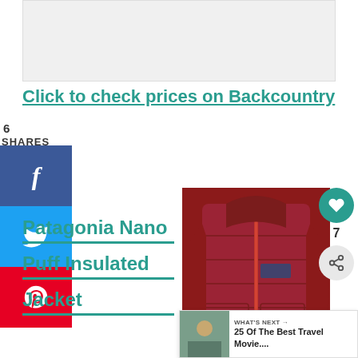[Figure (other): Gray advertisement banner placeholder]
Click to check prices on Backcountry
6
SHARES
[Figure (other): Facebook share button (blue with f icon)]
[Figure (other): Twitter share button (blue with bird icon)]
[Figure (other): Pinterest share button (red with P icon)]
Patagonia Nano Puff Insulated Jacket
[Figure (photo): Red Patagonia Nano Puff Insulated Jacket product photo]
[Figure (other): Heart/like button (teal circle) with count 7 and share icon]
WHAT'S NEXT → 25 Of The Best Travel Movie....